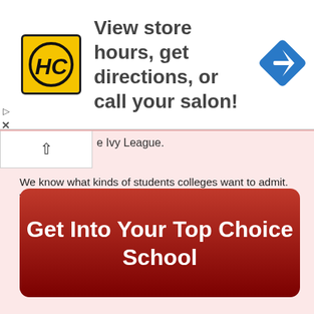[Figure (screenshot): Advertisement banner for HC (Hairstylist/Salon) with yellow logo, text 'View store hours, get directions, or call your salon!' and a blue navigation diamond icon on the right.]
e Ivy League.
We know what kinds of students colleges want to admit. We want to get you admitted to your dream schools.
Learn more about PrepScholar Admissions to maximize your chance of getting in.
Get Into Your Top Choice School